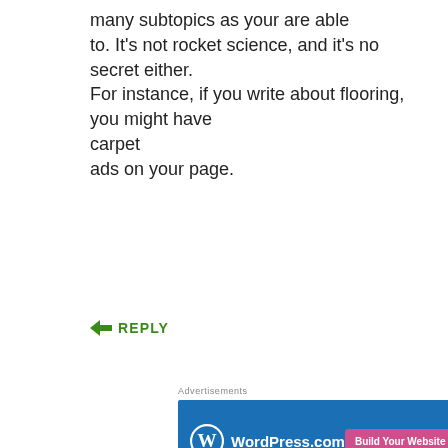many subtopics as your are able to. It's not rocket science, and it's no secret either. For instance, if you write about flooring, you might have carpet
ads on your page.
↳ REPLY
Advertisements
[Figure (screenshot): WordPress.com advertisement banner with blue background, WordPress logo and 'WordPress.com' text, and a pink 'Build Your Website' button]
Privacy & Cookies: This site uses cookies. By continuing to use this website, you agree to their use.
To find out more, including how to control cookies, see here: Cookie Policy
Close and accept